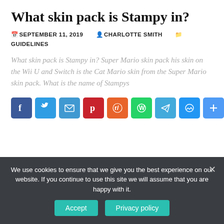What skin pack is Stampy in?
SEPTEMBER 11, 2019   CHARLOTTE SMITH   GUIDELINES
What skin pack is Stampy in? Super Mario skin pack his skin on the Wii U and Switch is the Cat Mario skin from the Super Mario skin pack. What is the name of Stampys
[Figure (other): Social media sharing icons: Facebook, Twitter, Email, Pinterest, Reddit, WhatsApp, Telegram, Messenger, Share]
We use cookies to ensure that we give you the best experience on our website. If you continue to use this site we will assume that you are happy with it.